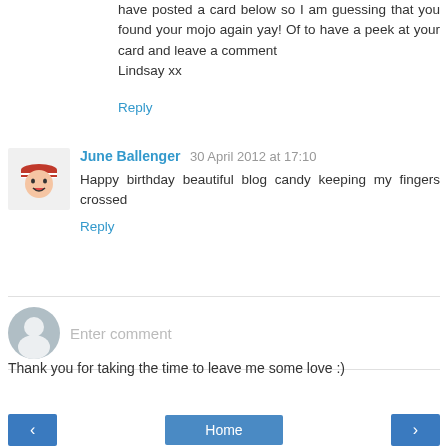have posted a card below so I am guessing that you found your mojo again yay! Of to have a peek at your card and leave a comment
Lindsay xx
Reply
June Ballenger  30 April 2012 at 17:10
Happy birthday beautiful blog candy keeping my fingers crossed
Reply
Enter comment
Thank you for taking the time to leave me some love :)
‹  Home  ›